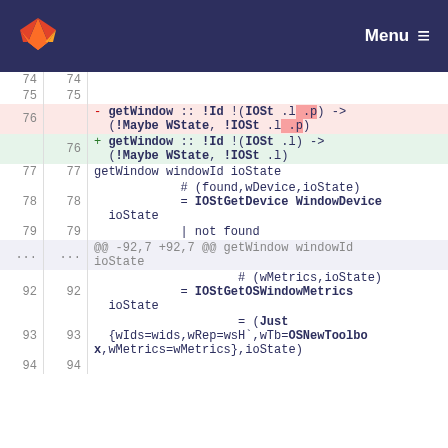GitLab — Menu
[Figure (screenshot): Code diff view showing changes to getWindow function signature, removing .p parameter from IOSt type, with surrounding context lines 74-94.]